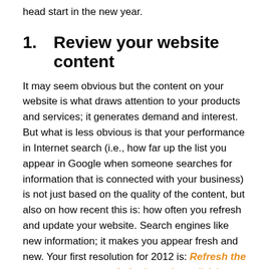head start in the new year.
1.    Review your website content
It may seem obvious but the content on your website is what draws attention to your products and services; it generates demand and interest.  But what is less obvious is that your performance in Internet search (i.e., how far up the list you appear in Google when someone searches for information that is connected with your business) is not just based on the quality of the content, but also on how recent this is: how often you refresh and update your website.  Search engines like new information; it makes you appear fresh and new.  Your first resolution for 2012 is: Refresh the content on your website (even just a little).